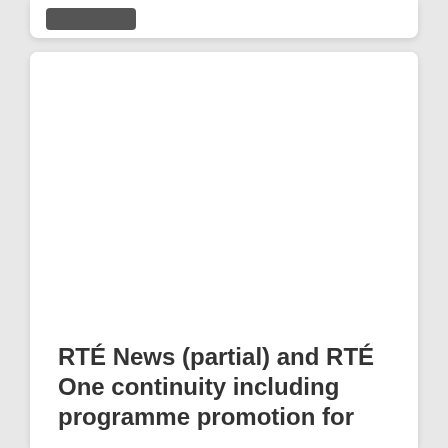[Figure (other): Top card with a dark button stub, partially visible at top of page]
RTÉ News (partial) and RTÉ One continuity including programme promotion for